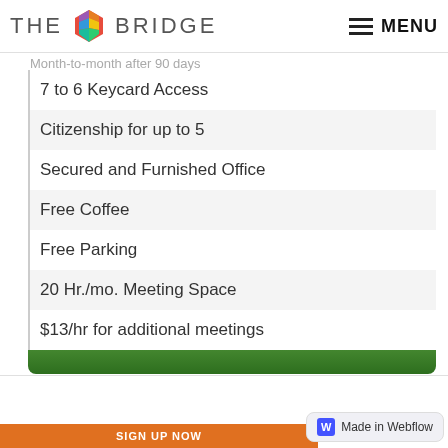THE BRIDGE — MENU
Month-to-month after 90 days
7 to 6 Keycard Access
Citizenship for up to 5
Secured and Furnished Office
Free Coffee
Free Parking
20 Hr./mo. Meeting Space
$13/hr for additional meetings
APPLY
SIGN UP NOW
Made in Webflow